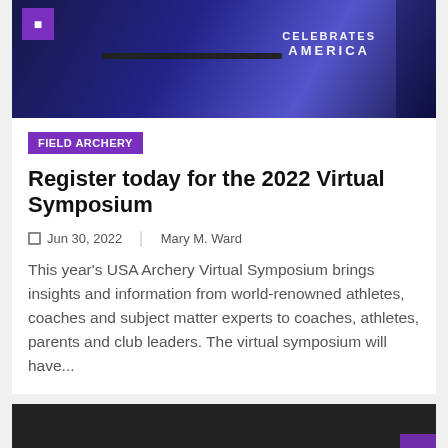[Figure (photo): Top portion of archery athlete wearing USA jersey with 'CELEBRATES AMERICA' text, holding a bow; purple badge icon in top-left corner]
FIELD ARCHERY
Register today for the 2022 Virtual Symposium
Jun 30, 2022  Mary M. Ward
This year's USA Archery Virtual Symposium brings insights and information from world-renowned athletes, coaches and subject matter experts to coaches, athletes, parents and club leaders. The virtual symposium will have...
[Figure (photo): Bottom portion dark background image, partially visible, with a purple rectangle in the bottom right corner]